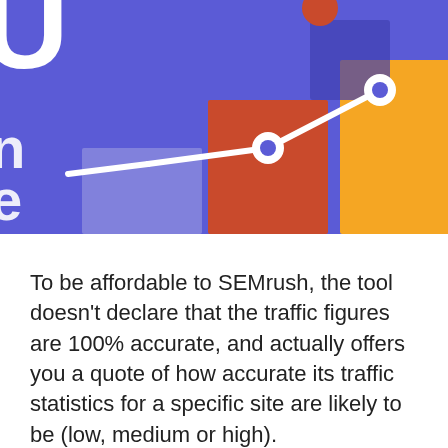[Figure (illustration): Partial view of a stylized bar chart illustration with purple background, showing bars in purple, orange/red, and yellow/gold colors, with a white line chart overlay featuring circular data points. Partial large white letter 'U' visible on the left edge, and partial letters 'n' and 'e' below it.]
To be affordable to SEMrush, the tool doesn't declare that the traffic figures are 100% accurate, and actually offers you a quote of how accurate its traffic statistics for a specific site are likely to be (low, medium or high).